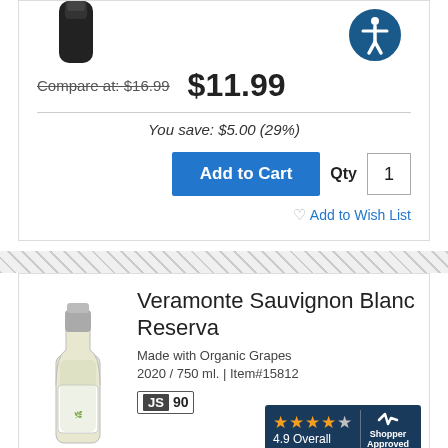[Figure (photo): Top portion of a dark wine bottle]
[Figure (other): Blue circular accessibility icon with person figure]
Compare at: $16.99   $11.99
You save: $5.00 (29%)
Add to Cart  Qty 1
Add to Wish List
Veramonte Sauvignon Blanc Reserva
Made with Organic Grapes
2020 / 750 ml. | Item#15812
JS 90
[Figure (photo): Veramonte Sauvignon Blanc wine bottle]
[Figure (other): Shopper Approved badge with 4.9 Overall and 4 stars]